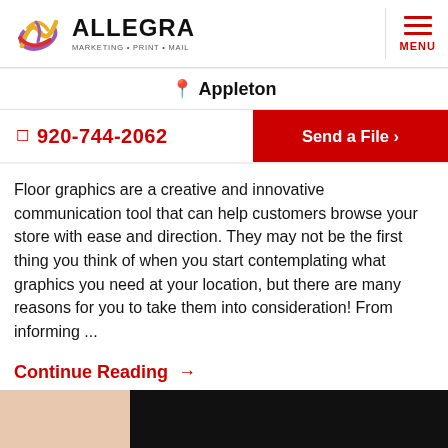Allegra Marketing Print Mail — Appleton — Menu
📍 Appleton
📞 920-744-2062   Send a File ›
Floor graphics are a creative and innovative communication tool that can help customers browse your store with ease and direction. They may not be the first thing you think of when you start contemplating what graphics you need at your location, but there are many reasons for you to take them into consideration! From informing ...
Continue Reading →
[Figure (photo): Partial image visible at bottom of page showing a person and dark background]